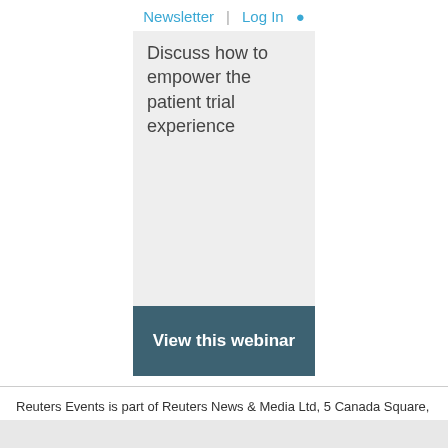Newsletter | Log In
Discuss how to empower the patient trial experience
View this webinar
Reuters Events is part of Reuters News & Media Ltd, 5 Canada Square, Canary Wharf, London, E14 5AQ. Registered in England and Wales: 2505735.
© Reuters Events 2022 | TERMS OF USE | PRIVACY POLICY | +44 (0) 207 375 7222